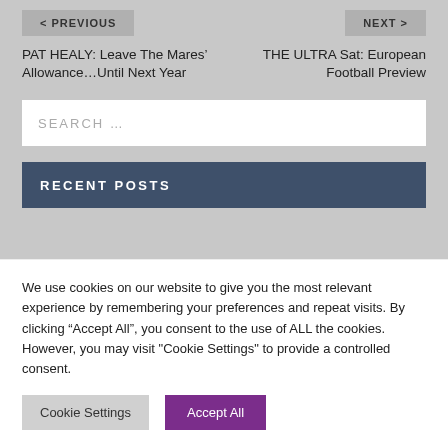< PREVIOUS
NEXT >
PAT HEALY: Leave The Mares' Allowance...Until Next Year
THE ULTRA Sat: European Football Preview
SEARCH ...
RECENT POSTS
We use cookies on our website to give you the most relevant experience by remembering your preferences and repeat visits. By clicking “Accept All”, you consent to the use of ALL the cookies. However, you may visit "Cookie Settings" to provide a controlled consent.
Cookie Settings
Accept All